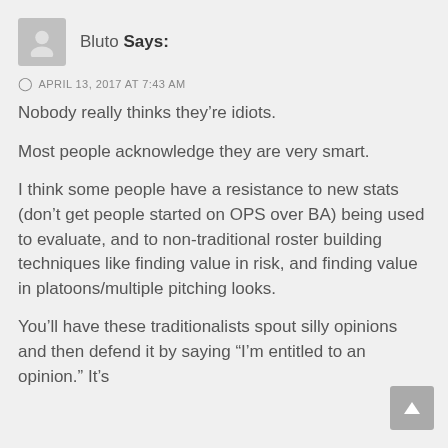Bluto Says:
APRIL 13, 2017 AT 7:43 AM
Nobody really thinks they're idiots.
Most people acknowledge they are very smart.
I think some people have a resistance to new stats (don't get people started on OPS over BA) being used to evaluate, and to non-traditional roster building techniques like finding value in risk, and finding value in platoons/multiple pitching looks.
You'll have these traditionalists spout silly opinions and then defend it by saying "I'm entitled to an opinion." It's